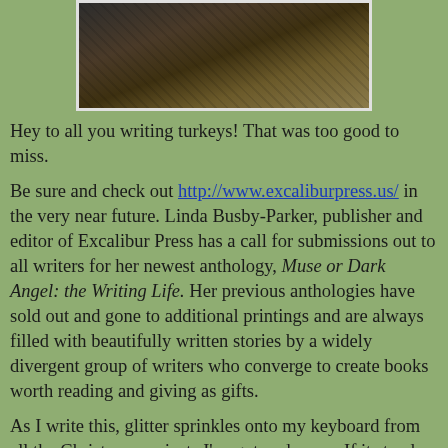[Figure (photo): A photograph of turkeys in natural outdoor vegetation/brush setting, viewed from above or close range, dark feathers visible against foliage.]
Hey to all you writing turkeys!  That was too good to miss.
Be sure and check out http://www.excaliburpress.us/ in the very near future.  Linda Busby-Parker, publisher and editor of Excalibur Press has a call for submissions out to all writers for her newest anthology, Muse or Dark Angel: the Writing Life.  Her previous anthologies have sold out and gone to additional printings and are always filled with beautifully written stories by a widely divergent group of writers who converge to create books worth reading and giving as gifts.
As I write this, glitter sprinkles onto my keyboard from all the Christmas projects I've got underway.  If it stands still, it gets a healthy dose of glitter at my house during the holidays.  My friends always know when I'm crafting as I glow for weeks.  No matter how often I shower, I walk...